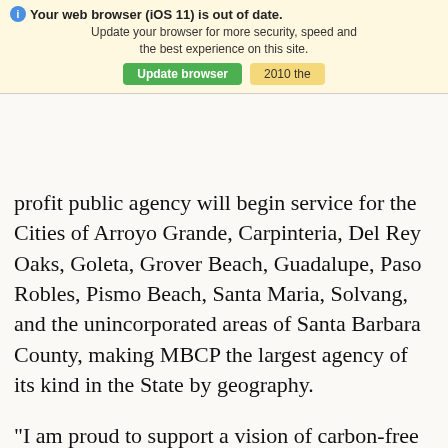since its March 2018 launch and will expand on these benefits by growing its service area along the Central ... 2020, the not-for-profit public agency will begin service for the Cities of Arroyo Grande, Carpinteria, Del Rey Oaks, Goleta, Grover Beach, Guadalupe, Paso Robles, Pismo Beach, Santa Maria, Solvang, and the unincorporated areas of Santa Barbara County, making MBCP the largest agency of its kind in the State by geography.
“I am proud to support a vision of carbon-free future for all. Our community has seen the impacts of fossil fuel pollution and climate change here in our town and across California,”